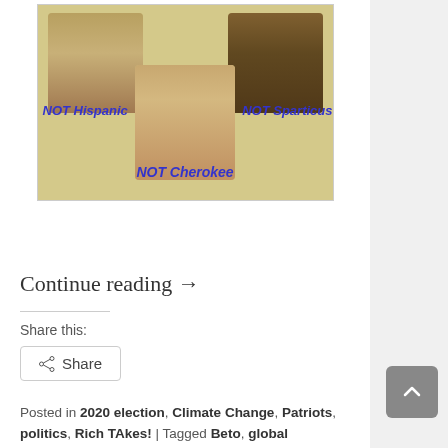[Figure (photo): A political meme showing three politicians labeled 'NOT Hispanic', 'NOT Sparticus', and 'NOT Cherokee' against a tan/gold background.]
Continue reading →
Share this:
Share
Posted in 2020 election, Climate Change, Patriots, politics, Rich TAkes! | Tagged Beto, global warming, Google, Hillary, Impeachment, Jill Stein, Pelosi, Project Veritas, Schiff, Trump, Tulsi Gabbard | Leave a reply